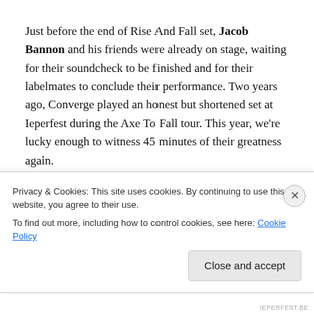Just before the end of Rise And Fall set, Jacob Bannon and his friends were already on stage, waiting for their soundcheck to be finished and for their labelmates to conclude their performance. Two years ago, Converge played an honest but shortened set at Ieperfest during the Axe To Fall tour. This year, we're lucky enough to witness 45 minutes of their greatness again.
Converge surprised everyone in the audience by starting with a long and slow song like 'Jane Doe'. It took some time for everyone to get into their set but from 'Heartache'
Privacy & Cookies: This site uses cookies. By continuing to use this website, you agree to their use.
To find out more, including how to control cookies, see here: Cookie Policy
Close and accept
IEPERFEST.BE